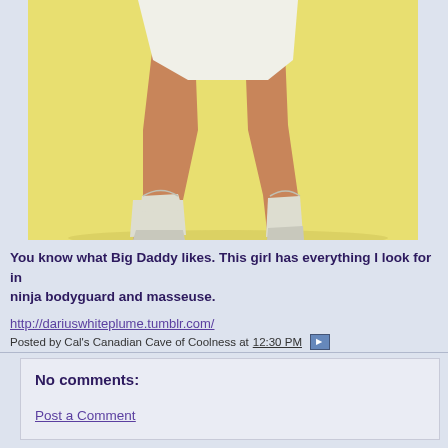[Figure (photo): Cropped photo showing legs of a woman wearing white knee-high boots and a short white dress/skirt, against a yellow background]
You know what Big Daddy likes. This girl has everything I look for in a ninja bodyguard and masseuse.
http://dariuswhiteplume.tumblr.com/
Posted by Cal's Canadian Cave of Coolness at 12:30 PM
No comments:
Post a Comment